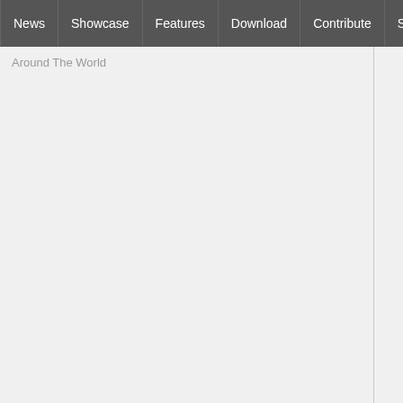News | Showcase | Features | Download | Contribute | Support
Around The World
[Figure (screenshot): Code snippet showing QML code with Text block containing id: name, anchors, font, verticalAlignment, font.bold properties, followed by radius: 5, MouseArea block with hoverEnabled, onEntered, onExited, anchors.fill, onClicked, anchors.vert properties]
Button to start new QOrbiter setup